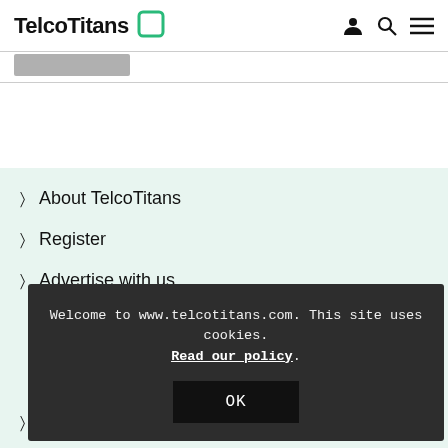TelcoTitans
About TelcoTitans
Register
Advertise with us
TelcoX research
Welcome to www.telcotitans.com. This site uses cookies. Read our policy.